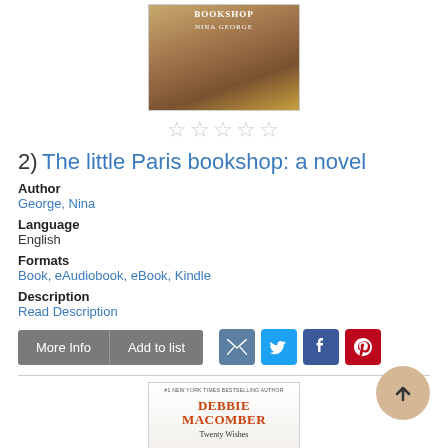[Figure (photo): Book cover of 'The Little Paris Bookshop' by Nina George — warm brown tones showing a bookshop interior with ornate details]
[Figure (other): Five empty star rating icons in a row]
2)  The little Paris bookshop: a novel
Author
George, Nina
Language
English
Formats
Book, eAudiobook, eBook, Kindle
Description
Read Description
[Figure (screenshot): Buttons: More Info | Add to list, and social sharing icons for email, Twitter, Facebook, Pinterest]
[Figure (photo): Book cover of a Debbie Macomber book titled 'Twenty Wishes' — white background with orange/red author name text]